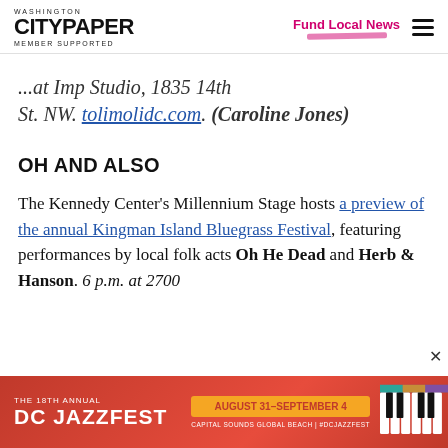Washington City Paper — MEMBER SUPPORTED | Fund Local News
...at Imp Studio, 1835 14th St. NW. tolimolidc.com. (Caroline Jones)
OH AND ALSO
The Kennedy Center's Millennium Stage hosts a preview of the annual Kingman Island Bluegrass Festival, featuring performances by local folk acts Oh He Dead and Herb & Hanson. 6 p.m. at 2700...
[Figure (infographic): Advertisement banner for 'The 18th Annual DC Jazzfest' - August 31–September 4, Capital Sounds Global Beach #DCJazzFest, with red background and piano keys imagery.]